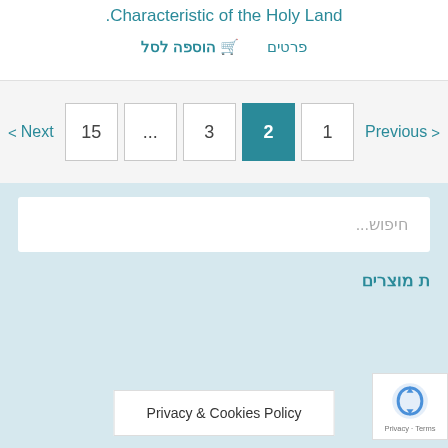.Characteristic of the Holy Land
הוספה לסל   פרטים
< Next  15  ...  3  2  1  Previous >
חיפוש...
ת מוצרים
Privacy & Cookies Policy